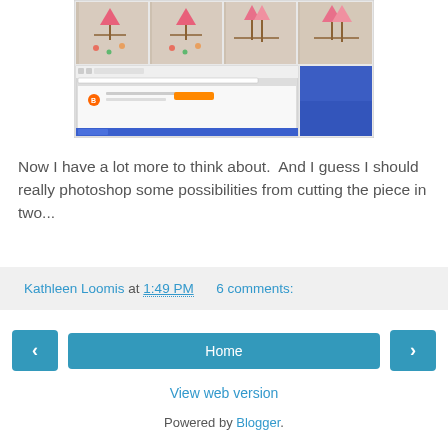[Figure (screenshot): Screenshot showing a grid of four quilt/embroidery images in the top row (pink tulips on fabric with floral embroidery), and below that a browser window screenshot overlapping with a blue desktop area.]
Now I have a lot more to think about.  And I guess I should really photoshop some possibilities from cutting the piece in two...
Kathleen Loomis at 1:49 PM    6 comments:
Home
View web version
Powered by Blogger.